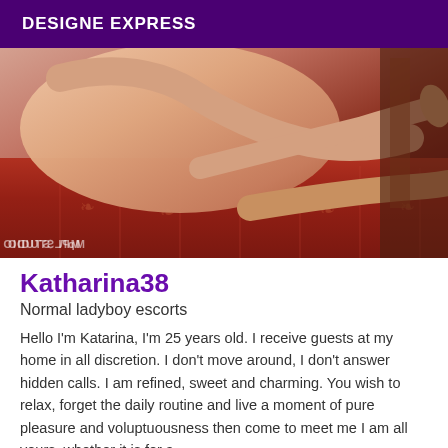DESIGNE EXPRESS
[Figure (photo): Photo of a person lying on a red patterned fabric surface, with MPL STUDIO watermark visible in the lower left corner]
Katharina38
Normal ladyboy escorts
Hello I'm Katarina, I'm 25 years old. I receive guests at my home in all discretion. I don't move around, I don't answer hidden calls. I am refined, sweet and charming. You wish to relax, forget the daily routine and live a moment of pure pleasure and voluptuousness then come to meet me I am all yours, whether it is for a